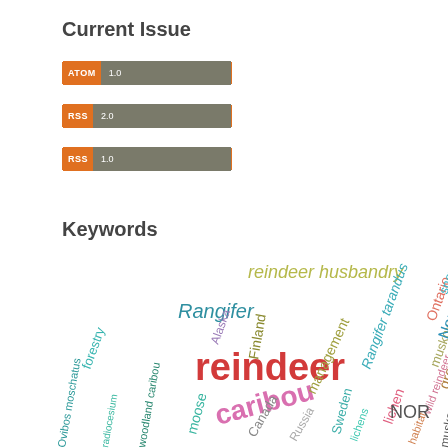Current Issue
[Figure (other): ATOM 1.0 feed badge button]
[Figure (other): RSS 2.0 feed badge button]
[Figure (other): RSS 1.0 feed badge button]
Keywords
[Figure (infographic): Word cloud showing keywords: reindeer husbandry, Rangifer, reindeer, caribou, management, Rangifer tarandus, forestry, Alaska, Finland, moose, Canada, Russia, Sweden, lichens, lichen, habitat, wild reindeer, muskoxen, NOR, growth, Ontario, Norway, snow, Ovibos moschatus, radiocesium, woodland caribou, muskox]